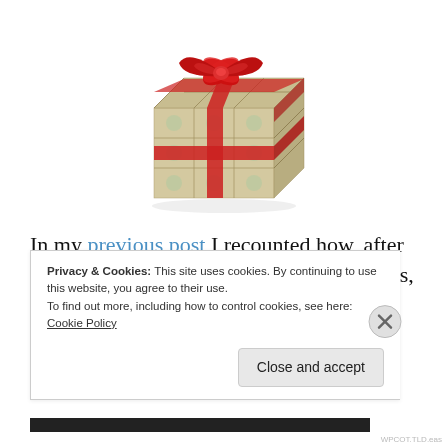[Figure (illustration): A gift box wrapped in US dollar bills with a red ribbon and bow on top]
In my previous post I recounted how, after a discussion with my wife about Bill Gates, it occurred to me that I really didn't know where
Privacy & Cookies: This site uses cookies. By continuing to use this website, you agree to their use.
To find out more, including how to control cookies, see here: Cookie Policy
Close and accept